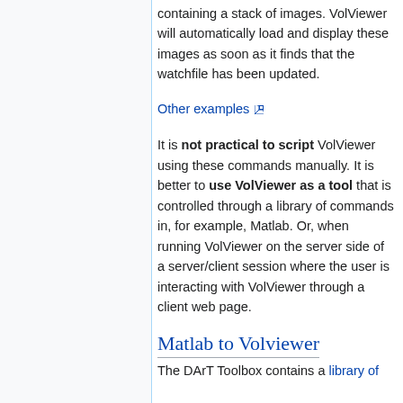containing a stack of images. VolViewer will automatically load and display these images as soon as it finds that the watchfile has been updated.
Other examples ⧉
It is not practical to script VolViewer using these commands manually. It is better to use VolViewer as a tool that is controlled through a library of commands in, for example, Matlab. Or, when running VolViewer on the server side of a server/client session where the user is interacting with VolViewer through a client web page.
Matlab to Volviewer
The DArT Toolbox contains a library of